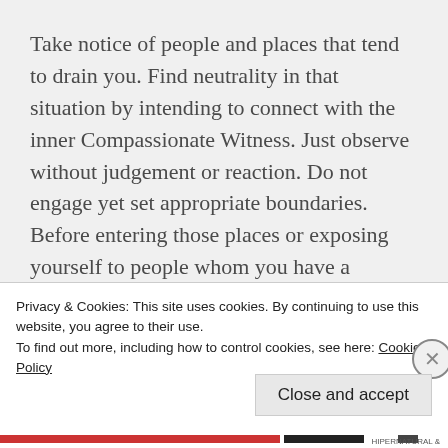Take notice of people and places that tend to drain you. Find neutrality in that situation by intending to connect with the inner Compassionate Witness. Just observe without judgement or reaction. Do not engage yet set appropriate boundaries. Before entering those places or exposing yourself to people whom you have a draining or vampiric sensation take a few minutes to fortify yourself and amplify your personal shield. Think of it as your
Privacy & Cookies: This site uses cookies. By continuing to use this website, you agree to their use.
To find out more, including how to control cookies, see here: Cookie Policy
Close and accept